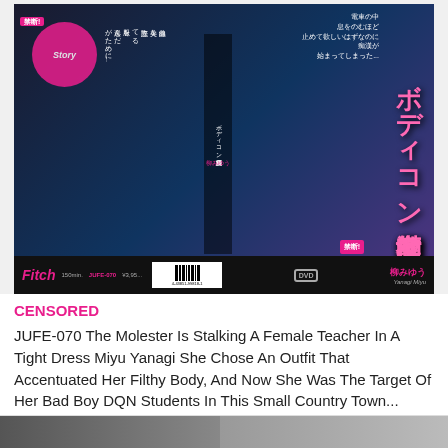[Figure (photo): DVD cover art for JUFE-070, a Japanese adult video release by Fitch label, featuring Japanese text, product branding, barcode, and performer name Yanagi Miyu]
CENSORED
JUFE-070 The Molester Is Stalking A Female Teacher In A Tight Dress Miyu Yanagi She Chose An Outfit That Accentuated Her Filthy Body, And Now She Was The Target Of Her Bad Boy DQN Students In This Small Country Town...
[Figure (photo): Partial thumbnail image visible at bottom of page, cropped]